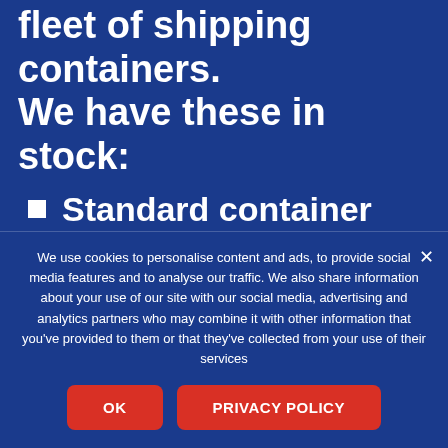fleet of shipping containers. We have these in stock:
Standard container
Flat-rack container
Open Top container
We use cookies to personalise content and ads, to provide social media features and to analyse our traffic. We also share information about your use of our site with our social media, advertising and analytics partners who may combine it with other information that you've provided to them or that they've collected from your use of their services
OK
PRIVACY POLICY